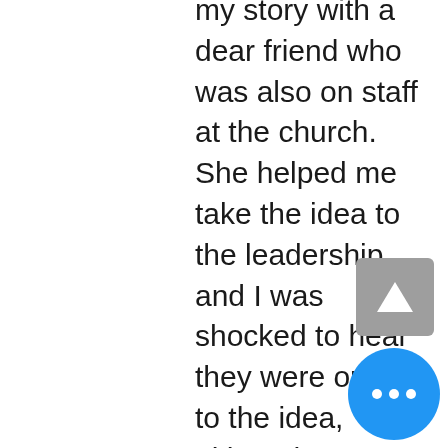my story with a dear friend who was also on staff at the church. She helped me take the idea to the leadership and I was shocked to hear they were open to the idea, although somewhat reluctant to believe women would actually attend.

With preparations underway, my training completed, the Sunday arrived. The announcement that our church would be holding a Post-Abortion Bible Study would be in the bulletin, along with my name and phone number. As the announcements scrolled across the screen, I braced myself for gasps and finger pointing, waiting for an usher come along and slap a scarlet letter my chest. It was done. I had been